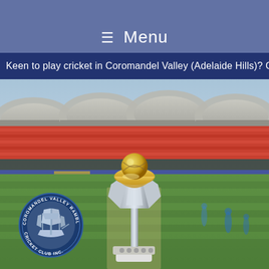☰  Menu
Keen to play cricket in Coromandel Valley (Adelaide Hills)? Click
[Figure (photo): Cricket World Cup trophy displayed on the pitch at a cricket stadium, with the Coromandel Valley Ramblers Cricket Club Inc. logo overlaid in the bottom left corner.]